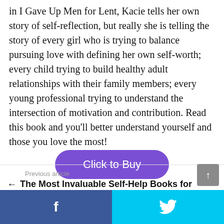in I Gave Up Men for Lent, Kacie tells her own story of self-reflection, but really she is telling the story of every girl who is trying to balance pursuing love with defining her own self-worth; every child trying to build healthy adult relationships with their family members; every young professional trying to understand the intersection of motivation and contribution. Read this book and you'll better understand yourself and those you love the most!
[Figure (other): Purple rounded button labeled 'Click to Buy']
Previous article ← The Most Invaluable Self-Help Books for